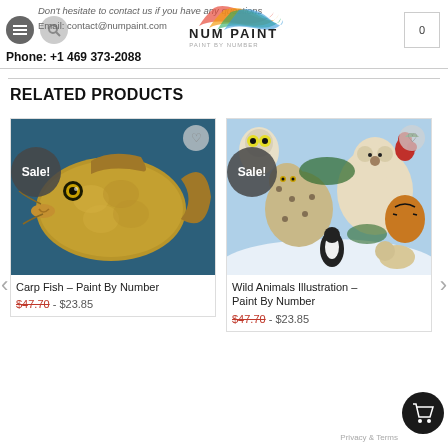Don't hesitate to contact us if you have any questions
Email: contact@numpaint.com
Phone: +1 469 373-2088
RELATED PRODUCTS
[Figure (photo): Carp Fish paint by number product image with Sale! badge]
Carp Fish – Paint By Number
$47.70  - $23.85
[Figure (photo): Wild Animals Illustration paint by number product image with Sale! badge]
Wild Animals Illustration – Paint By Number
$47.70  - $23.85